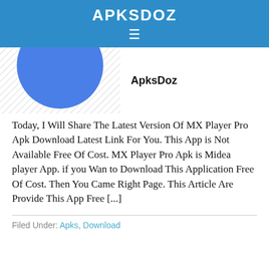APKSDOZ
[Figure (logo): Blue circle logo with hatched background and 'ApksDoz' label text]
Today, I Will Share The Latest Version Of MX Player Pro Apk Download Latest Link For You. This App is Not Available Free Of Cost. MX Player Pro Apk is Midea player App. if you Wan to Download This Application Free Of Cost. Then You Came Right Page. This Article Are Provide This App Free [...]
Filed Under: Apks, Download